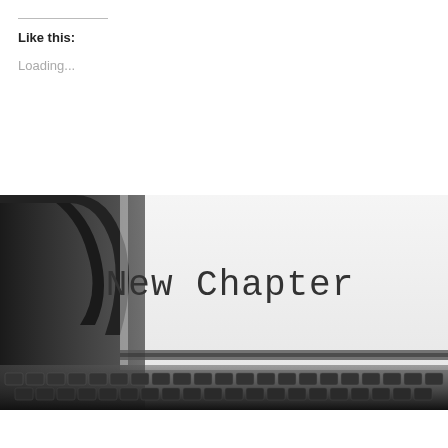Like this:
Loading...
[Figure (photo): A vintage typewriter with a sheet of paper showing the text 'New Chapter' typed on it. The dark metal body and keys of the typewriter are visible at the bottom and left of the image.]
Turning the Page